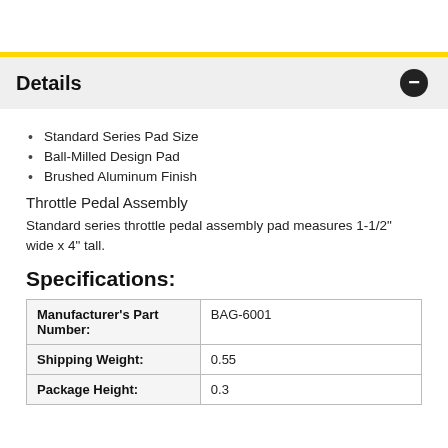Details
Standard Series Pad Size
Ball-Milled Design Pad
Brushed Aluminum Finish
Throttle Pedal Assembly
Standard series throttle pedal assembly pad measures 1-1/2" wide x 4" tall.
Specifications:
|  |  |
| --- | --- |
| Manufacturer's Part Number: | BAG-6001 |
| Shipping Weight: | 0.55 |
| Package Height: | 0.3 |